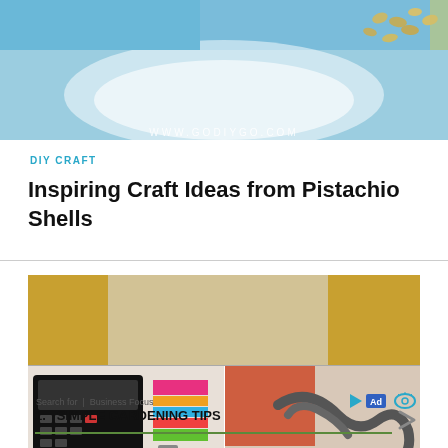[Figure (photo): Top banner image showing a bowl and pistachio seeds on blue background with www.godiygo.com watermark]
DIY CRAFT
Inspiring Craft Ideas from Pistachio Shells
[Figure (photo): Composite craft/DIY image showing colorful washi tape dispenser, binder clips, and cables]
Search for  |  Business Focus
1.   SIMPLE GARDENING TIPS